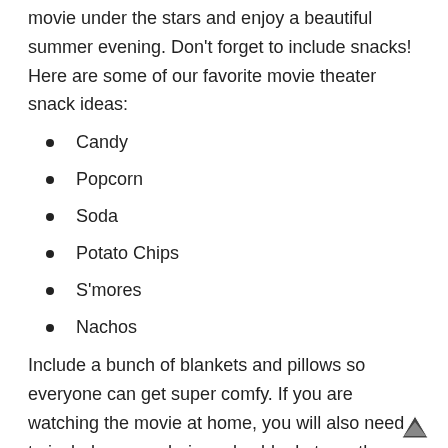movie under the stars and enjoy a beautiful summer evening. Don't forget to include snacks! Here are some of our favorite movie theater snack ideas:
Candy
Popcorn
Soda
Potato Chips
S'mores
Nachos
Include a bunch of blankets and pillows so everyone can get super comfy. If you are watching the movie at home, you will also need to include some chairs or lay blankets on the ground for seating.